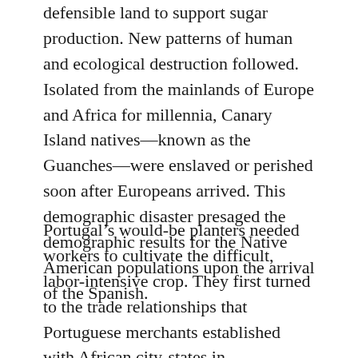defensible land to support sugar production. New patterns of human and ecological destruction followed. Isolated from the mainlands of Europe and Africa for millennia, Canary Island natives—known as the Guanches—were enslaved or perished soon after Europeans arrived. This demographic disaster presaged the demographic results for the Native American populations upon the arrival of the Spanish.
Portugal's would-be planters needed workers to cultivate the difficult, labor-intensive crop. They first turned to the trade relationships that Portuguese merchants established with African city-states in Senegambia, along the Gold Coast, as well as the kingdoms of Benin, Kongo, and Ndongo.22 The